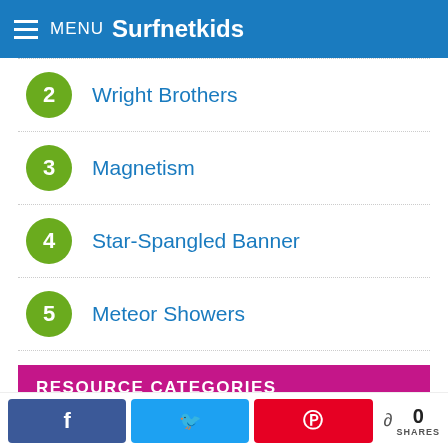MENU Surfnetkids
2 Wright Brothers
3 Magnetism
4 Star-Spangled Banner
5 Meteor Showers
RESOURCE CATEGORIES
▶ Arts, Crafts, Music (240)
0 SHARES